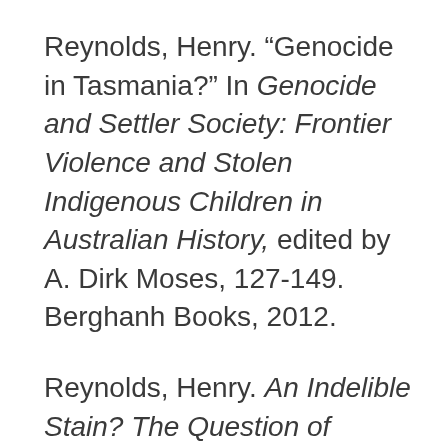Reynolds, Henry. “Genocide in Tasmania?” In Genocide and Settler Society: Frontier Violence and Stolen Indigenous Children in Australian History, edited by A. Dirk Moses, 127-149. Berghanh Books, 2012.
Reynolds, Henry. An Indelible Stain? The Question of Genocide in Australia’s History. Ringwood,